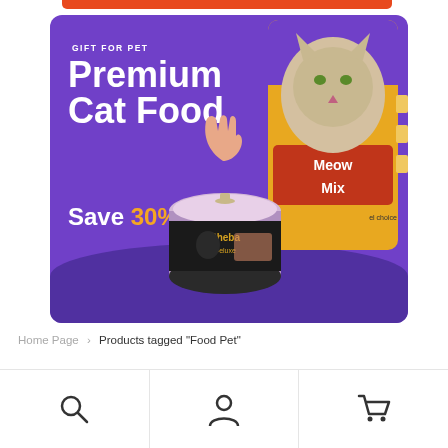[Figure (illustration): Promotional banner with purple background showing 'GIFT FOR PET', 'Premium Cat Food', 'Save 30%' text, with a Sheba cat food can and Meow Mix cat food bag with a cat image on the right side.]
Home Page  >  Products tagged "Food Pet"
[Figure (illustration): Bottom navigation bar with three icons: search (magnifying glass), account (person silhouette), and cart (shopping cart).]